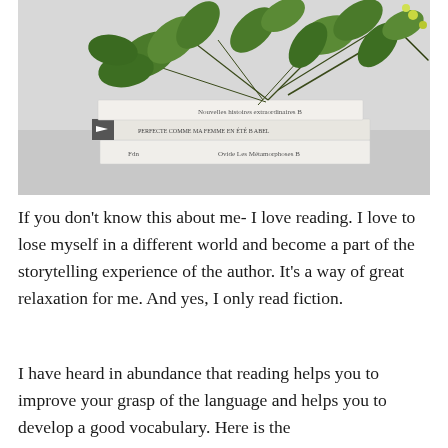[Figure (photo): A stack of three white-covered books with green leafy plant branches draped over them, photographed on a light grey background.]
If you don't know this about me- I love reading. I love to lose myself in a different world and become a part of the storytelling experience of the author. It's a way of great relaxation for me. And yes, I only read fiction.
I have heard in abundance that reading helps you to improve your grasp of the language and helps you to develop a good vocabulary. Here is the